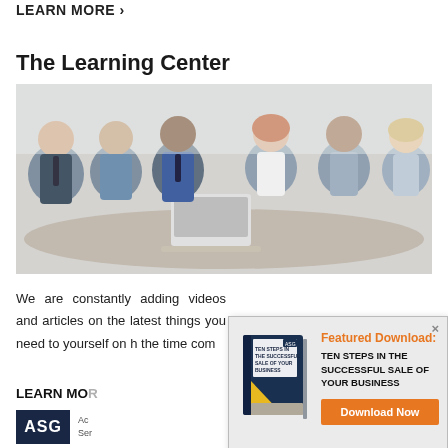LEARN MORE >
The Learning Center
[Figure (photo): Six business professionals sitting around a conference table with a laptop, engaged in discussion.]
We are constantly adding videos and articles on the latest things you need to know to successfully prepare yourself on how to sell your business. When the time comes...
LEARN MORE
[Figure (infographic): Featured Download popup with book cover for 'Ten Steps in the Successful Sale of Your Business' and a Download Now button.]
[Figure (logo): ASG logo — dark navy rectangle with white letters ASG, followed by company name text.]